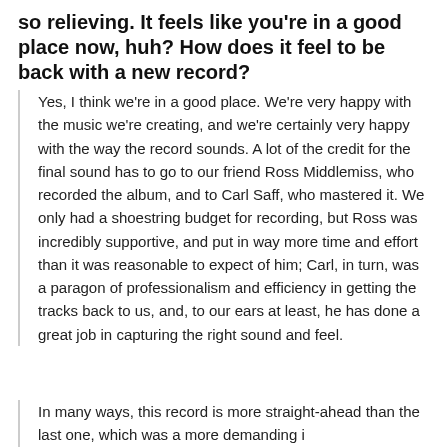so relieving. It feels like you're in a good place now, huh? How does it feel to be back with a new record?
Yes, I think we're in a good place. We're very happy with the music we're creating, and we're certainly very happy with the way the record sounds. A lot of the credit for the final sound has to go to our friend Ross Middlemiss, who recorded the album, and to Carl Saff, who mastered it. We only had a shoestring budget for recording, but Ross was incredibly supportive, and put in way more time and effort than it was reasonable to expect of him; Carl, in turn, was a paragon of professionalism and efficiency in getting the tracks back to us, and, to our ears at least, he has done a great job in capturing the right sound and feel.
In many ways, this record is more straight-ahead than the last one, which was a more demanding i...